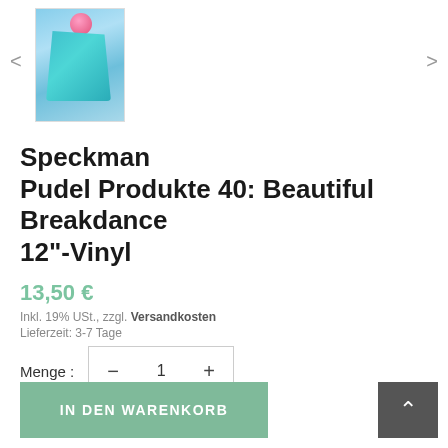[Figure (photo): Thumbnail of vinyl record album cover showing a figure with teal fabric/cape against a blue sky background with a pink balloon]
Speckman Pudel Produkte 40: Beautiful Breakdance 12"-Vinyl
13,50 €
Inkl. 19% USt., zzgl. Versandkosten
Lieferzeit: 3-7 Tage
Menge : - 1 +
IN DEN WARENKORB